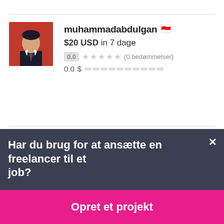[Figure (photo): Profile avatar of muhammadabdulgan — person in suit with red background]
muhammadabdulgan 🇮🇩
$20 USD in 7 dage
0.0 ★★★★★ (0 bedømmelser)
0.0 $ ██████████
[Figure (photo): Profile avatar of abramovigor935 — partially visible person with sunglasses]
abramovigor935 🇷🇺
Har du brug for at ansætte en freelancer til et job?
Opret et projekt